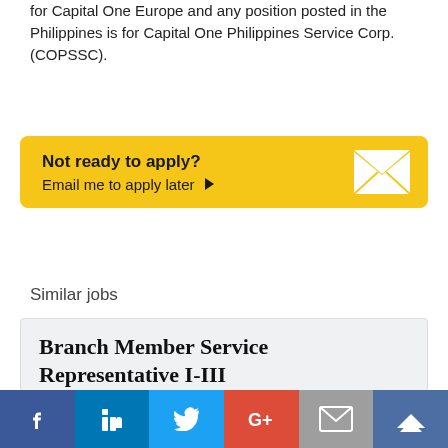for Capital One Europe and any position posted in the Philippines is for Capital One Philippines Service Corp. (COPSSC).
[Figure (infographic): Yellow call-to-action box with text 'Not ready to apply? Email me to apply later' and envelope icon]
Similar jobs
[Figure (infographic): Job card for Branch Member Service Representative I-III at Northwest Federal Credit Union in McLean, Virginia, with company logo]
[Figure (infographic): Social media sharing bar with Facebook, LinkedIn, Twitter, Google+, Email, and crown icons]